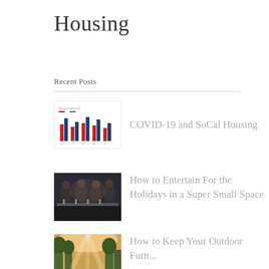Housing
Recent Posts
[Figure (bar-chart): Grouped bar chart thumbnail showing average sales price data with red and blue bars]
COVID-19 and SoCal Housing
[Figure (photo): Photo of people dining together at a holiday gathering]
How to Entertain For the Holidays in a Super Small Space
[Figure (photo): Outdoor scene photo, partially visible]
How to Keep Your Outdoor Furniture Create Personal